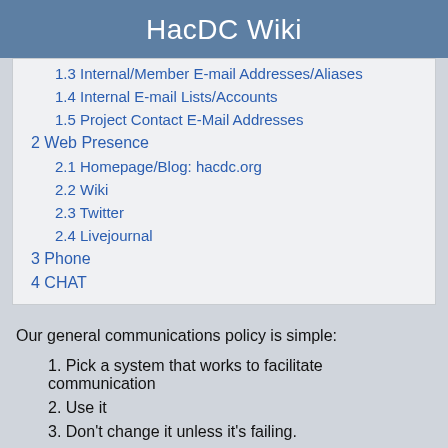HacDC Wiki
1.3 Internal/Member E-mail Addresses/Aliases
1.4 Internal E-mail Lists/Accounts
1.5 Project Contact E-Mail Addresses
2 Web Presence
2.1 Homepage/Blog: hacdc.org
2.2 Wiki
2.3 Twitter
2.4 Livejournal
3 Phone
4 CHAT
Our general communications policy is simple:
1. Pick a system that works to facilitate communication
2. Use it
3. Don't change it unless it's failing.